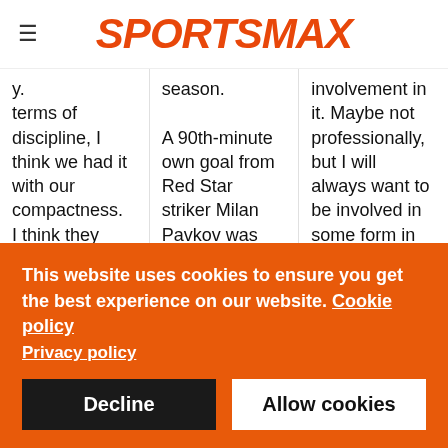SPORTSMAX
y. terms of discipline, I think we had it with our compactness. I think they couldn't really play through our lines most of the time but the longer the game
season. A 90th-minute own goal from Red Star striker Milan Pavkov was enough to progress the Israeli side, who had been 2-0 down on
involvement in it. Maybe not professionally, but I will always want to be involved in some form in tennis. Obviously, I've retired professionally, but
This website uses cookies to ensure you get the best experience on our website. Cookie policy Privacy policy
Decline
Allow cookies